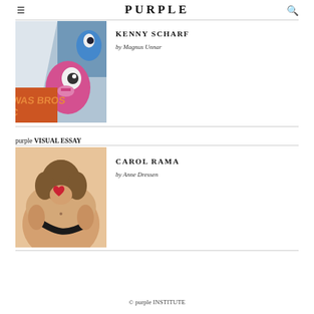PURPLE
[Figure (photo): Colorful mural/street art showing cartoon characters and text reading 'WAS BROS', photographed from below at an angle]
KENNY SCHARF
by Magnus Unnar
purple VISUAL ESSAY
[Figure (photo): Painting of a nude figure from behind, holding a dark curved object, warm peach/orange tones]
CAROL RAMA
by Anne Dressen
© purple INSTITUTE